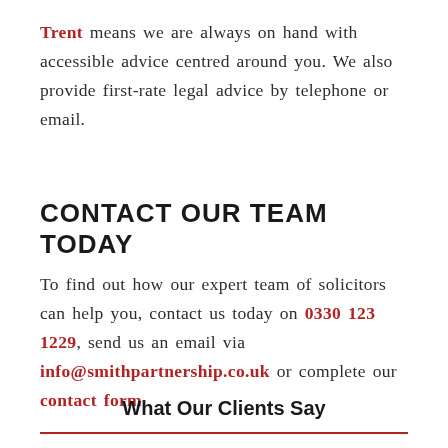Trent means we are always on hand with accessible advice centred around you. We also provide first-rate legal advice by telephone or email.
CONTACT OUR TEAM TODAY
To find out how our expert team of solicitors can help you, contact us today on 0330 123 1229, send us an email via info@smithpartnership.co.uk or complete our contact form.
What Our Clients Say